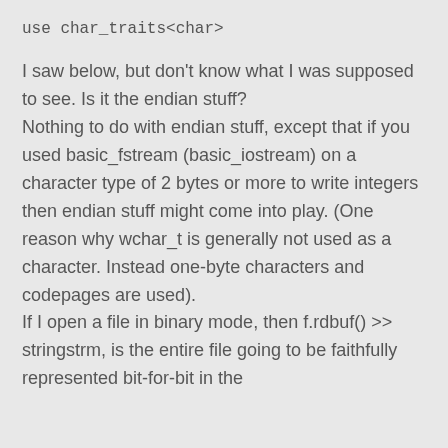use char_traits<char>
I saw below, but don't know what I was supposed to see. Is it the endian stuff?
Nothing to do with endian stuff, except that if you used basic_fstream (basic_iostream) on a character type of 2 bytes or more to write integers then endian stuff might come into play. (One reason why wchar_t is generally not used as a character. Instead one-byte characters and codepages are used).
If I open a file in binary mode, then f.rdbuf() >> stringstrm, is the entire file going to be faithfully represented bit-for-bit in the